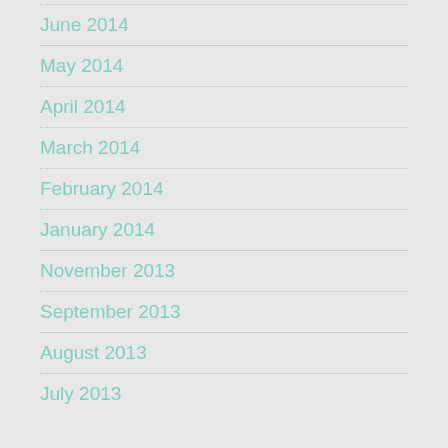June 2014
May 2014
April 2014
March 2014
February 2014
January 2014
November 2013
September 2013
August 2013
July 2013